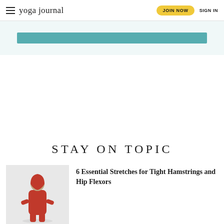yoga journal | JOIN NOW | SIGN IN
[Figure (other): Teal colored banner/advertisement strip]
STAY ON TOPIC
[Figure (photo): Person in red outfit in a yoga hamstring stretch pose against light background]
6 Essential Stretches for Tight Hamstrings and Hip Flexors